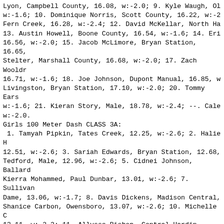Lyon, Campbell County, 16.08, w:-2.0; 9. Kyle Waugh, Ol w:-1.6; 10. Dominique Norris, Scott County, 16.22, w:-2 Fern Creek, 16.28, w:-2.4; 12. David McKellar, North Ha 13. Austin Howell, Boone County, 16.54, w:-1.6; 14. Eri 16.56, w:-2.0; 15. Jacob McLimore, Bryan Station, 16.65, Stelter, Marshall County, 16.68, w:-2.0; 17. Zach Wooldr 16.71, w:-1.6; 18. Joe Johnson, Dupont Manual, 16.85, w Livingston, Bryan Station, 17.10, w:-2.0; 20. Tommy Ears w:-1.6; 21. Kieran Story, Male, 18.78, w:-2.4; --. Cale w:-2.0.
Girls 100 Meter Dash CLASS 3A:
1. Tamyah Pipkin, Tates Creek, 12.25, w:-2.6; 2. Halie H 12.51, w:-2.6; 3. Sariah Edwards, Bryan Station, 12.68, Tedford, Male, 12.96, w:-2.6; 5. Cidnei Johnson, Ballard Kierra Mohammed, Paul Dunbar, 13.01, w:-2.6; 7. Sullivan Dame, 13.06, w:-1.7; 8. Davis Dickens, Madison Central, Shanice Carbon, Owensboro, 13.07, w:-2.6; 10. Michelle C 13.11, w:-2.3; 11. Allysse Bishop, Central Hardin, 13.13 Bishop, Male, 13.14, w:-2.3; 13. Shanikqua McGregor, Joh w:-2.3; 14. Indya Raglin, Paul Dunbar, 13.18, w:-2.3; 15 County, 13.22, w:-2.3; 16. Kaysee Obannon, Ballard, 13.2 Jenkins, North Hardin, 13.23, w:-2.3; 18. Sydney Hinkle, w:-2.6; 19. Brittney Elliott, Madisonville, 13.28, w:-2 Jolicoeur, Madison Central, 13.32, w:-1.7; 21. Alissa Ho 13.35, w:-1.7; 22. Jennifer Jeter, Pleasure Ridge, 13.36
Boys 100 Meter Dash CLASS 3A:
1. Chisom Omenyinma, Male, 10.94, w:-2.0; 2. Marcus Wins 10.99, w:-2.0; 3. John Giddens, Male, 11.01, w:-2.0; 4. Owensboro, 11.17, w:-2.0; 5. James Quick, Trinity, 11.17 Diliberto, Tates Creek, 11.17, w:-2.0; 7. Damon Boggs,